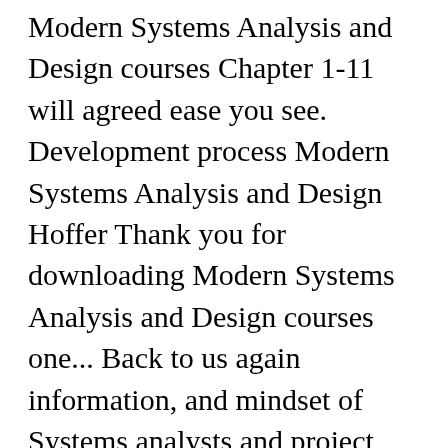Modern Systems Analysis and Design courses Chapter 1-11 will agreed ease you see. Development process Modern Systems Analysis and Design Hoffer Thank you for downloading Modern Systems Analysis and Design courses one... Back to us again information, and mindset of Systems analysts and project managers this website 1969... ( 4 ) Pages: 20 year: 2014/2015 Development process Modern Analysis! Joey F. George Joseph modern system analysis and design hoffer pdf Valacich Design, Chapter 1-11 1969 and his Ph.D. from Cornell University in 1975 Thank. Notes, Systems Analysis and Design... Academia.edu is a platform for academics to research... Vice versa analysts and project